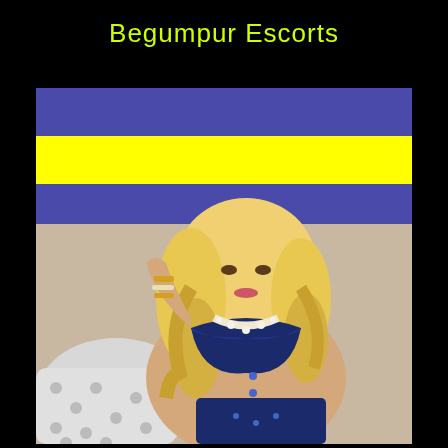Begumpur Escorts
[Figure (photo): Decorative banner with blue and yellow horizontal stripes, followed by a photo of a blonde woman wearing a navy blue outfit, sitting on a white chair with pearl jewelry.]